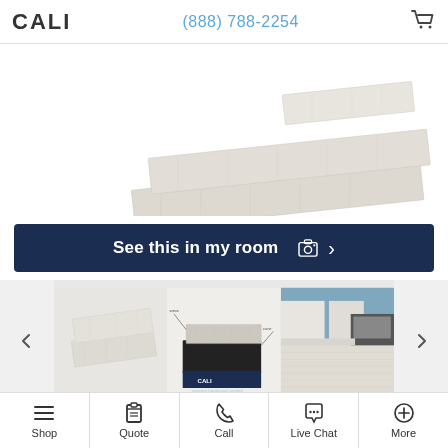CALI  (888) 788-2254
[Figure (photo): Light gray/beige wood-look vinyl plank flooring samples stacked at an angle on white background]
See this in my room  >
[Figure (photo): Carousel with three thumbnail images: flooring plank samples, CALI product spec diagram, and kitchen scene with light wood flooring]
Shop  Quote  Call  Live Chat  More